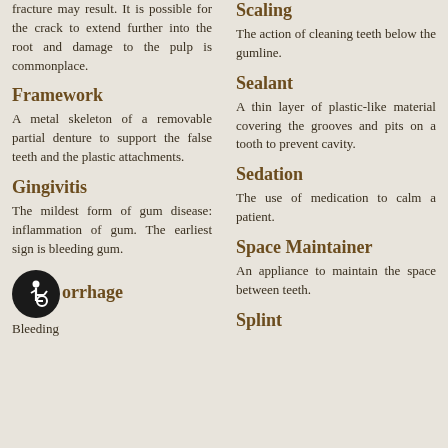fracture may result. It is possible for the crack to extend further into the root and damage to the pulp is commonplace.
Framework
A metal skeleton of a removable partial denture to support the false teeth and the plastic attachments.
Gingivitis
The mildest form of gum disease: inflammation of gum. The earliest sign is bleeding gum.
Haemorrhage
Bleeding
Scaling
The action of cleaning teeth below the gumline.
Sealant
A thin layer of plastic-like material covering the grooves and pits on a tooth to prevent cavity.
Sedation
The use of medication to calm a patient.
Space Maintainer
An appliance to maintain the space between teeth.
Splint